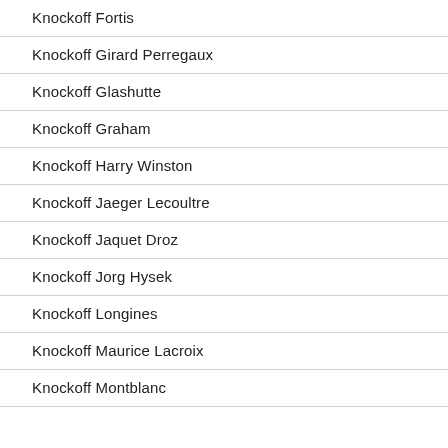Knockoff Fortis
Knockoff Girard Perregaux
Knockoff Glashutte
Knockoff Graham
Knockoff Harry Winston
Knockoff Jaeger Lecoultre
Knockoff Jaquet Droz
Knockoff Jorg Hysek
Knockoff Longines
Knockoff Maurice Lacroix
Knockoff Montblanc